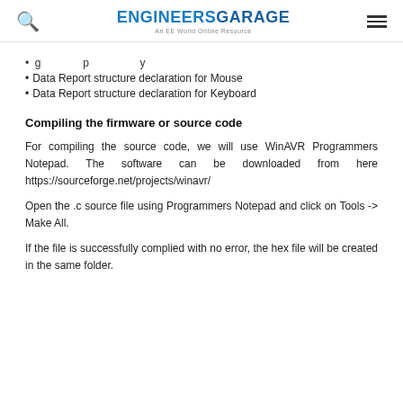ENGINEERS GARAGE — An EE World Online Resource
Data Report structure declaration for Mouse
Data Report structure declaration for Keyboard
Compiling the firmware or source code
For compiling the source code, we will use WinAVR Programmers Notepad. The software can be downloaded from here https://sourceforge.net/projects/winavr/
Open the .c source file using Programmers Notepad and click on Tools -> Make All.
If the file is successfully complied with no error, the hex file will be created in the same folder.